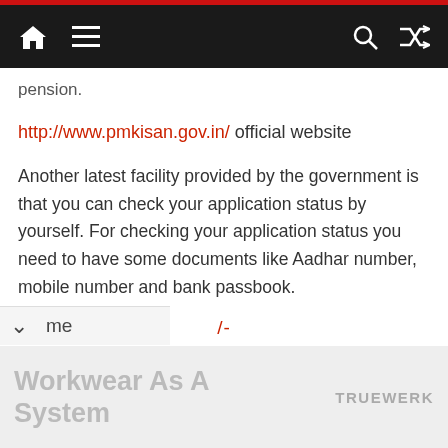Navigation bar with home icon, menu icon, search icon, shuffle icon
pension.
http://www.pmkisan.gov.in/ official website
Another latest facility provided by the government is that you can check your application status by yourself. For checking your application status you need to have some documents like Aadhar number, mobile number and bank passbook.
/-
Search
Home
Workwear As A System
TRUEWERK